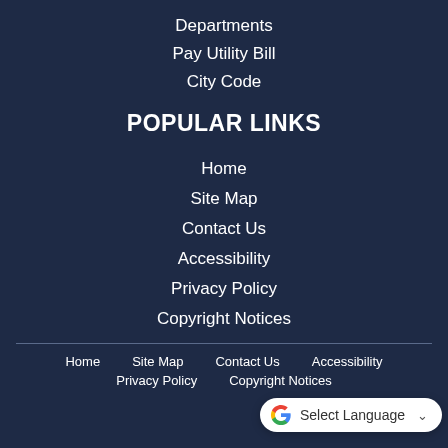Departments
Pay Utility Bill
City Code
POPULAR LINKS
Home
Site Map
Contact Us
Accessibility
Privacy Policy
Copyright Notices
Home   Site Map   Contact Us   Accessibility   Privacy Policy   Copyright Notices